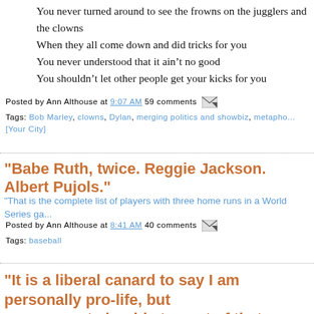You never turned around to see the frowns on the jugglers and the clowns
When they all come down and did tricks for you
You never understood that it ain’t no good
You shouldn’t let other people get your kicks for you
Posted by Ann Althouse at 9:07 AM  59 comments
Tags: Bob Marley, clowns, Dylan, merging politics and showbiz, metapho... [Your City]
"Babe Ruth, twice. Reggie Jackson. Albert Pujols."
"That is the complete list of players with three home runs in a World Series ga...
Posted by Ann Althouse at 8:41 AM  40 comments
Tags: baseball
"It is a liberal canard to say I am personally pro-life, but government should stay out of that decision."